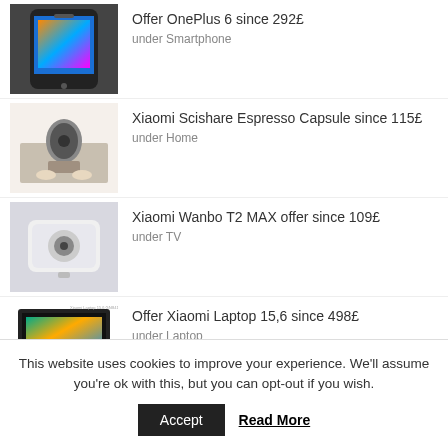Offer OnePlus 6 since 292£ — under Smartphone
Xiaomi Scishare Espresso Capsule since 115£ — under Home
Xiaomi Wanbo T2 MAX offer since 109£ — under TV
Offer Xiaomi Laptop 15,6 since 498£ — under Laptop
Xiaomi Monitor Gaming Offer since 326£
This website uses cookies to improve your experience. We'll assume you're ok with this, but you can opt-out if you wish.
Accept | Read More